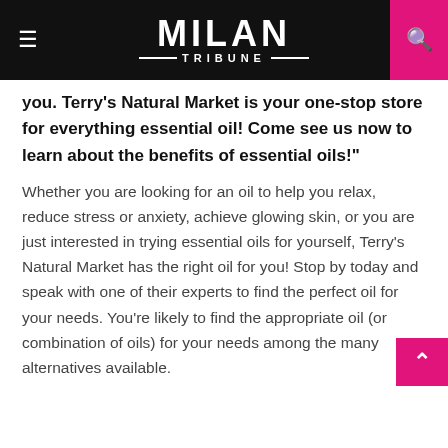MILAN TRIBUNE
you. Terry's Natural Market is your one-stop store for everything essential oil! Come see us now to learn about the benefits of essential oils!"
Whether you are looking for an oil to help you relax, reduce stress or anxiety, achieve glowing skin, or you are just interested in trying essential oils for yourself, Terry's Natural Market has the right oil for you! Stop by today and speak with one of their experts to find the perfect oil for your needs. You're likely to find the appropriate oil (or combination of oils) for your needs among the many alternatives available.